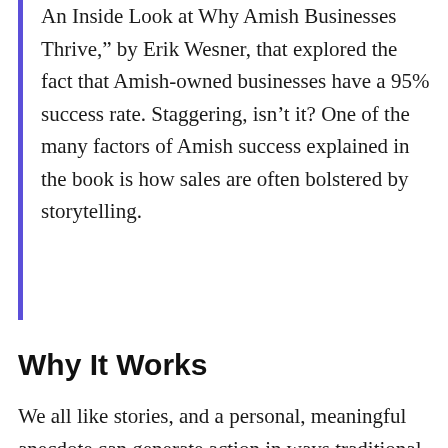An Inside Look at Why Amish Businesses Thrive," by Erik Wesner, that explored the fact that Amish-owned businesses have a 95% success rate. Staggering, isn't it? One of the many factors of Amish success explained in the book is how sales are often bolstered by storytelling.
Why It Works
We all like stories, and a personal, meaningful anecdote can generate action in ways traditional sales copy usually can't. It's about differentiating yourself from the competition, and getting (and